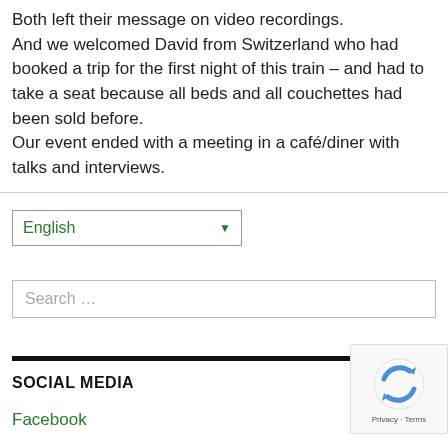Both left their message on video recordings. And we welcomed David from Switzerland who had booked a trip for the first night of this train – and had to take a seat because all beds and all couchettes had been sold before. Our event ended with a meeting in a café/diner with talks and interviews.
[Figure (screenshot): Language selector dropdown showing 'English' with green text and a green dropdown arrow, bordered box]
[Figure (screenshot): Search bar with placeholder text 'Search ...']
SOCIAL MEDIA
Facebook
[Figure (logo): reCAPTCHA badge with rotating arrows logo, Privacy and Terms links]